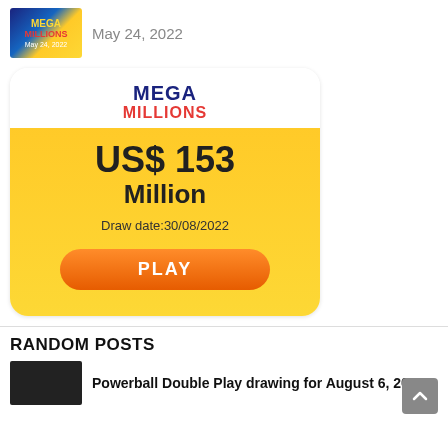[Figure (illustration): Mega Millions lottery thumbnail with date May 24, 2022]
May 24, 2022
[Figure (illustration): Mega Millions jackpot banner showing US$ 153 Million, Draw date: 30/08/2022, with PLAY button]
RANDOM POSTS
[Figure (illustration): Dark thumbnail for Powerball Double Play drawing post]
Powerball Double Play drawing for August 6, 2022